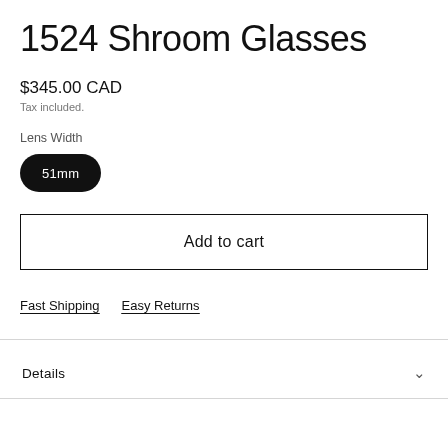1524 Shroom Glasses
$345.00 CAD
Tax included.
Lens Width
51mm
Add to cart
Fast Shipping
Easy Returns
Details